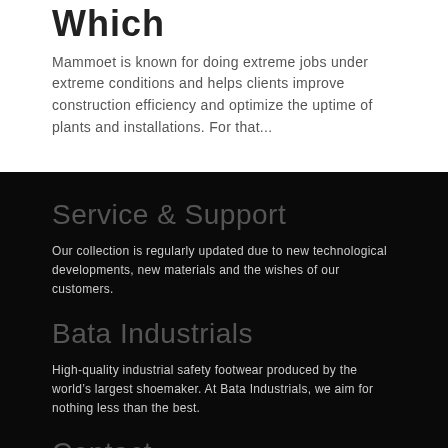Which
Mammoet is known for doing extreme jobs under extreme conditions and helps clients improve construction efficiency and optimize the uptime of plants and installations. For that...
Service & Support
Our collection is regularly updated due to new technological developments, new materials and the wishes of our customers.
Bata Industrials
High-quality industrial safety footwear produced by the world’s largest shoemaker. At Bata Industrials, we aim for nothing less than the best.
Contact